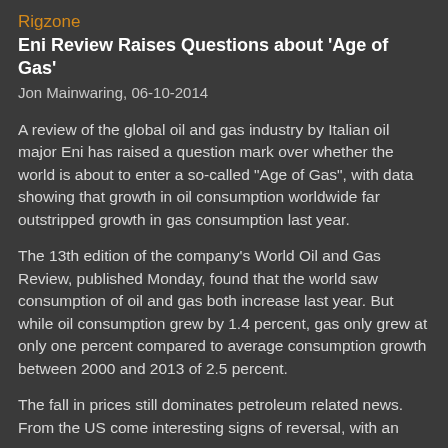Rigzone
Eni Review Raises Questions about 'Age of Gas'
Jon Mainwaring, 06-10-2014
A review of the global oil and gas industry by Italian oil major Eni has raised a question mark over whether the world is about to enter a so-called "Age of Gas", with data showing that growth in oil consumption worldwide far outstripped growth in gas consumption last year.
The 13th edition of the company's World Oil and Gas Review, published Monday, found that the world saw consumption of oil and gas both increase last year. But while oil consumption grew by 1.4 percent, gas only grew at only one percent compared to average consumption growth between 2000 and 2013 of 2.5 percent.
The fall in prices still dominates petroleum related news. From the US come interesting signs of reversal, with an